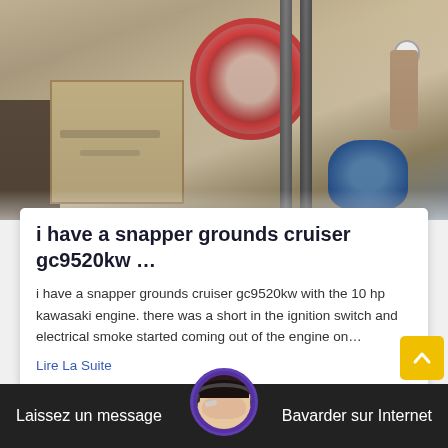[Figure (photo): Industrial machinery with large red circular flywheel/pulley, concrete block structure, metal frame columns, a worker in a hard hat on the right, and a blue motor/pump at bottom right. Outdoor industrial setting.]
i have a snapper grounds cruiser gc9520kw …
i have a snapper grounds cruiser gc9520kw with the 10 hp kawasaki engine. there was a short in the ignition switch and electrical smoke started coming out of the engine on…
Lire La Suite
[Figure (photo): Thumbnail strip of additional content images at the bottom of the page]
Laissez un message    Bavarder sur Internet